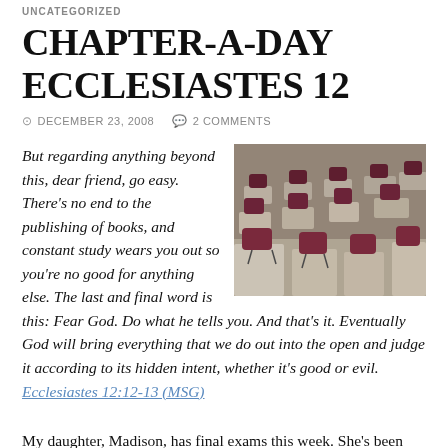UNCATEGORIZED
CHAPTER-A-DAY ECCLESIASTES 12
DECEMBER 23, 2008   2 COMMENTS
[Figure (photo): Rows of empty classroom desks and chairs, viewed from an angle, in muted dark red and grey tones.]
But regarding anything beyond this, dear friend, go easy. There's no end to the publishing of books, and constant study wears you out so you're no good for anything else. The last and final word is this: Fear God. Do what he tells you. And that's it. Eventually God will bring everything that we do out into the open and judge it according to its hidden intent, whether it's good or evil. Ecclesiastes 12:12-13 (MSG)
My daughter, Madison, has final exams this week. She's been burning the midnight oil and burning the candle at both ends.